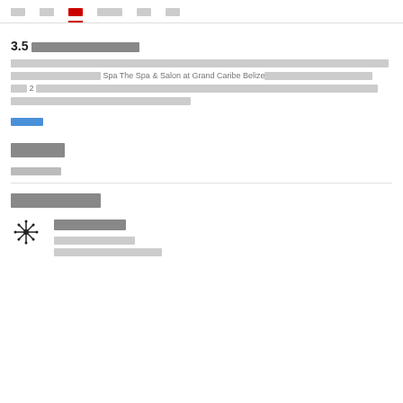██ ██ ██ [active] ████ ██ ██
3.5 ████████████
████████████████████████████████████████████████████████████████ Spa The Spa & Salon at Grand Caribe Belize████████████████ 2 ████████████████████████████████████████████████████████████████████████████████████████████
████
████
███████
████████
██████
██████████
██████████████